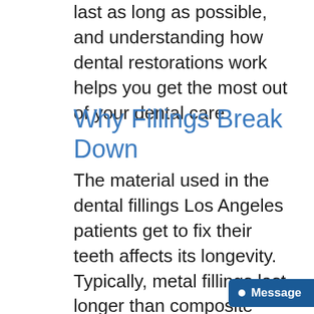last as long as possible, and understanding how dental restorations work helps you get the most out of your dental care.
Why Fillings Break Down
The material used in the dental fillings Los Angeles patients get to fix their teeth affects its longevity. Typically, metal fillings last longer than composite ones due to the durability of the material. Since one of the first things people ask about is the tooth filling cost with our insurance, it helps to understand that the material chosen affects your maximum return on the initial investment for restorations.